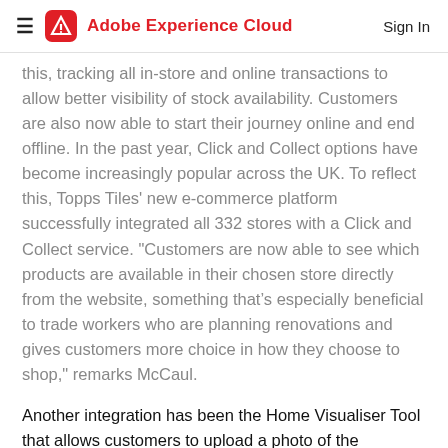Adobe Experience Cloud | Sign In
this, tracking all in-store and online transactions to allow better visibility of stock availability. Customers are also now able to start their journey online and end offline. In the past year, Click and Collect options have become increasingly popular across the UK. To reflect this, Topps Tiles' new e-commerce platform successfully integrated all 332 stores with a Click and Collect service. "Customers are now able to see which products are available in their chosen store directly from the website, something that’s especially beneficial to trade workers who are planning renovations and gives customers more choice in how they choose to shop," remarks McCaul.
Another integration has been the Home Visualiser Tool that allows customers to upload a photo of the